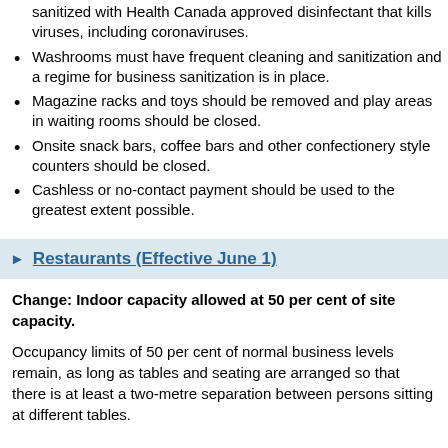sanitized with Health Canada approved disinfectant that kills viruses, including coronaviruses.
Washrooms must have frequent cleaning and sanitization and a regime for business sanitization is in place.
Magazine racks and toys should be removed and play areas in waiting rooms should be closed.
Onsite snack bars, coffee bars and other confectionery style counters should be closed.
Cashless or no-contact payment should be used to the greatest extent possible.
Restaurants (Effective June 1)
Change: Indoor capacity allowed at 50 per cent of site capacity.
Occupancy limits of 50 per cent of normal business levels remain, as long as tables and seating are arranged so that there is at least a two-metre separation between persons sitting at different tables.